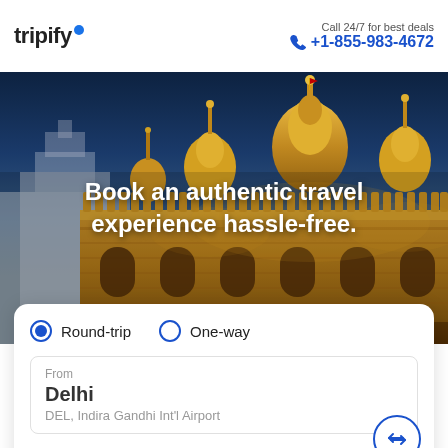tripify
Call 24/7 for best deals +1-855-983-4672
[Figure (photo): Hero background photo of an ornate Indian temple (Golden Temple, Amritsar) lit up at night in golden light with a blue dusk sky]
Book an authentic travel experience hassle-free.
Round-trip   One-way
From
Delhi
DEL, Indira Gandhi Int'l Airport
To
Patna